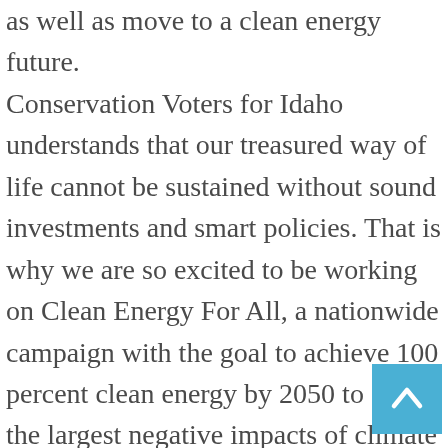as well as move to a clean energy future. Conservation Voters for Idaho understands that our treasured way of life cannot be sustained without sound investments and smart policies. That is why we are so excited to be working on Clean Energy For All, a nationwide campaign with the goal to achieve 100 percent clean energy by 2050 to avoid the largest negative impacts of climate change.
The Clean Energy For All campaign in Idaho is an effort to remove barriers to clean energy and create a strong base of support throughout the